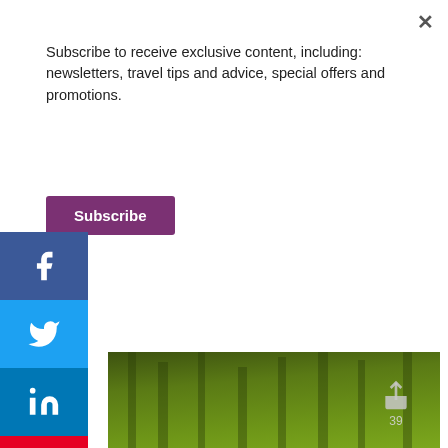Subscribe to receive exclusive content, including: newsletters, travel tips and advice, special offers and promotions.
Subscribe
[Figure (screenshot): Social media sharing sidebar with Facebook, Twitter, LinkedIn, Pinterest, Reddit, Mix, YouTube, and email buttons on the left side of the page.]
[Figure (photo): Forest of tall green conifer trees, aerial or hillside view. A share icon and the number 39 are overlaid on the top right.]
[Figure (screenshot): Video promotion bar with a chat bubble icon, text 'nd counting - only o...' and a 'Watch now' button in red/pink.]
@mindyonthemove
Have you been to any of these 10 crazy beautiful places in the US yet? 🏔 ...See more
Advertisements